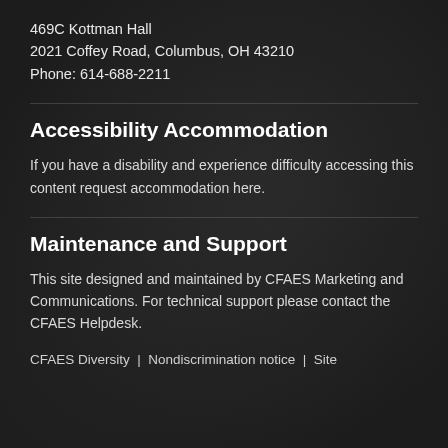469C Kottman Hall
2021 Coffey Road, Columbus, OH 43210
Phone: 614-688-2211
Accessibility Accommodation
If you have a disability and experience difficulty accessing this content request accommodation here.
Maintenance and Support
This site designed and maintained by CFAES Marketing and Communications. For technical support please contact the CFAES Helpdesk.
CFAES Diversity | Nondiscrimination notice | Site